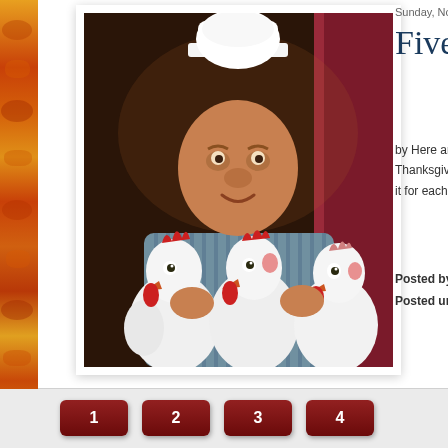[Figure (photo): The Swedish Chef Muppet character wearing a white chef hat, holding three cartoon chickens with red beaks and combs. Dark background with curtains.]
Sunday, Nove...
Five T...
by Here are ... Thanksgiving... it for each ho...
Posted by Jo...
Posted unde...
1  2  3  4